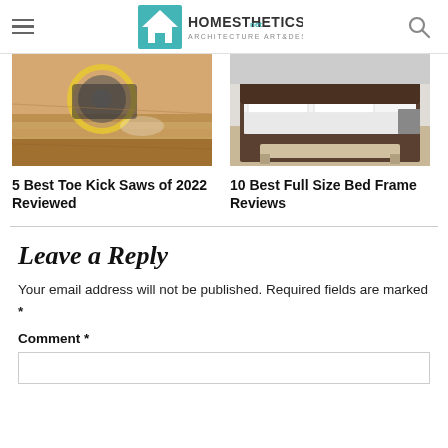Homesthetics – Architecture Art & Design
[Figure (photo): Circular saw cutting wood plank with sawdust flying]
5 Best Toe Kick Saws of 2022 Reviewed
[Figure (photo): Bedroom with white bedding, dark bed frame and wood floor]
10 Best Full Size Bed Frame Reviews
Leave a Reply
Your email address will not be published. Required fields are marked *
Comment *